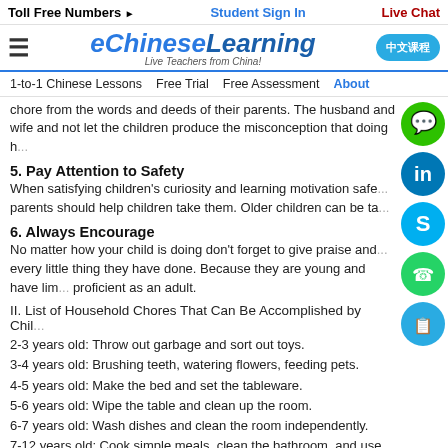Toll Free Numbers  Student Sign In  Live Chat
[Figure (logo): eChineseLearning logo with tagline 'Live Teachers from China!']
1-to-1 Chinese Lessons  Free Trial  Free Assessment  About
chore from the words and deeds of their parents. The husband and wife and not let the children produce the misconception that doing h...
5. Pay Attention to Safety
When satisfying children's curiosity and learning motivation saf... parents should help children take them. Older children can be ta...
6. Always Encourage
No matter how your child is doing don't forget to give praise and... every little thing they have done. Because they are young and have lim... proficient as an adult.
II. List of Household Chores That Can Be Accomplished by Chil...
2-3 years old: Throw out garbage and sort out toys.
3-4 years old: Brushing teeth, watering flowers, feeding pets.
4-5 years old: Make the bed and set the tableware.
5-6 years old: Wipe the table and clean up the room.
6-7 years old: Wash dishes and clean the room independently.
7-12 years old: Cook simple meals, clean the bathroom, and use the w...